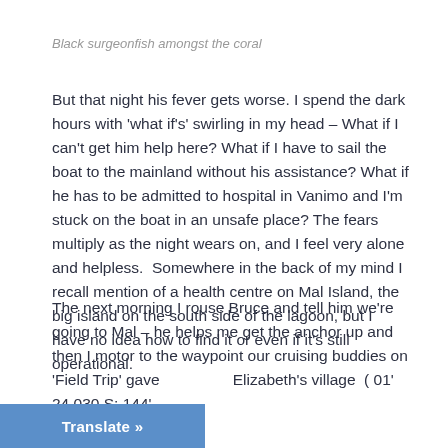Black surgeonfish amongst the coral
But that night his fever gets worse. I spend the dark hours with 'what if's' swirling in my head – What if I can't get him help here? What if I have to sail the boat to the mainland without his assistance? What if he has to be admitted to hospital in Vanimo and I'm stuck on the boat in an unsafe place? The fears multiply as the night wears on, and I feel very alone and helpless.  Somewhere in the back of my mind I recall mention of a health centre on Mal Island, the big island on the south side of the lagoon, but I have no idea how to find it or even if it's still operational.
The next morning I rouse Bruce and tell him we're going to Mal – he helps me get the anchor up and then I motor to the waypoint our cruising buddies on 'Field Trip' gave Elizabeth's village  ( 01' 24.030 S: 144'